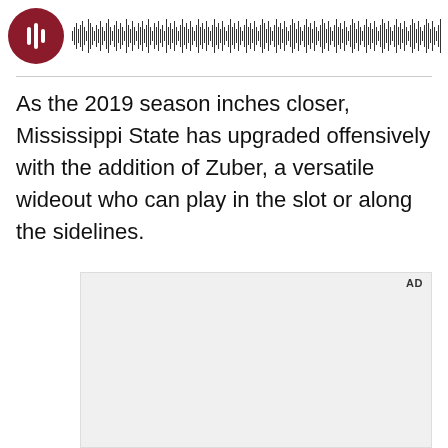[Figure (other): Podcast player widget with dark red circular icon and waveform audio visualization bar stretching across the top of the page]
As the 2019 season inches closer, Mississippi State has upgraded offensively with the addition of Zuber, a versatile wideout who can play in the slot or along the sidelines.
[Figure (other): Advertisement placeholder box (AD label in top right corner, gray background)]